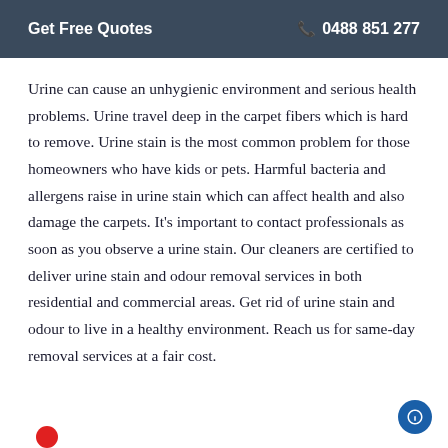Get Free Quotes  ☎ 0488 851 277
Urine can cause an unhygienic environment and serious health problems. Urine travel deep in the carpet fibers which is hard to remove. Urine stain is the most common problem for those homeowners who have kids or pets. Harmful bacteria and allergens raise in urine stain which can affect health and also damage the carpets. It's important to contact professionals as soon as you observe a urine stain. Our cleaners are certified to deliver urine stain and odour removal services in both residential and commercial areas. Get rid of urine stain and odour to live in a healthy environment. Reach us for same-day removal services at a fair cost.